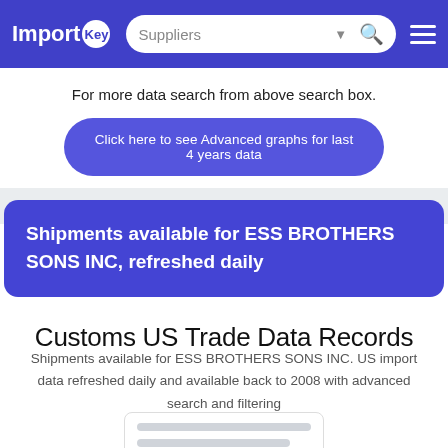ImportKey — Suppliers search bar — menu
For more data search from above search box.
Click here to see Advanced graphs for last 4 years data
Shipments available for ESS BROTHERS SONS INC, refreshed daily
Customs US Trade Data Records
Shipments available for ESS BROTHERS SONS INC. US import data refreshed daily and available back to 2008 with advanced search and filtering
[Figure (screenshot): Partial loading placeholder with two gray bars inside a rounded card]